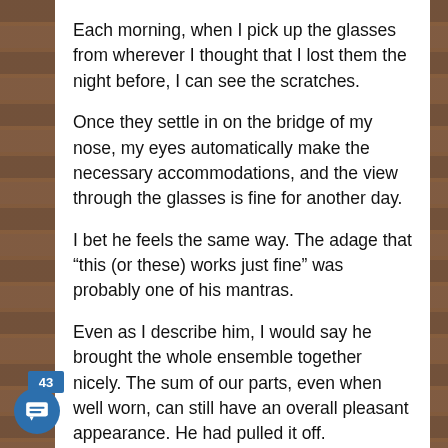Each morning, when I pick up the glasses from wherever I thought that I lost them the night before, I can see the scratches.
Once they settle in on the bridge of my nose, my eyes automatically make the necessary accommodations, and the view through the glasses is fine for another day.
I bet he feels the same way. The adage that “this (or these) works just fine” was probably one of his mantras.
Even as I describe him, I would say he brought the whole ensemble together nicely. The sum of our parts, even when well worn, can still have an overall pleasant appearance. He had pulled it off.
He looked at the pastries, then he asked about the chocolate brownies. He was bent over peering right at them. They were huge.
He got this from another description, too. It didn’t
43